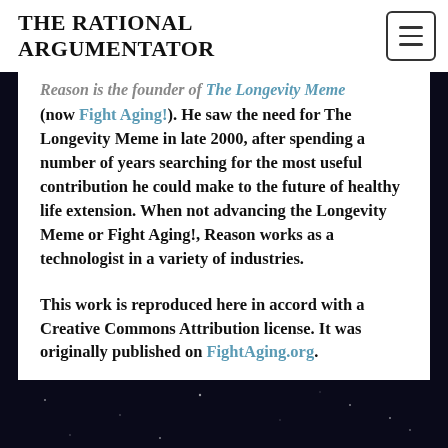THE RATIONAL ARGUMENTATOR
Reason is the founder of The Longevity Meme (now Fight Aging!). He saw the need for The Longevity Meme in late 2000, after spending a number of years searching for the most useful contribution he could make to the future of healthy life extension. When not advancing the Longevity Meme or Fight Aging!, Reason works as a technologist in a variety of industries.
This work is reproduced here in accord with a Creative Commons Attribution license. It was originally published on FightAging.org.